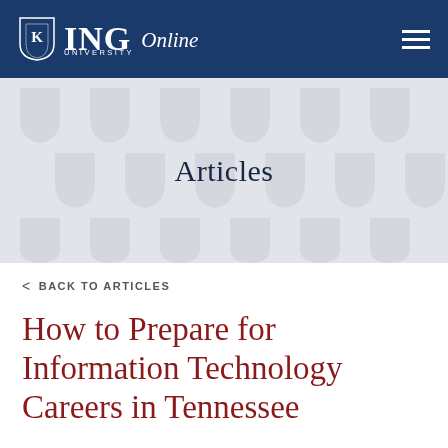King University Online
Articles
< BACK TO ARTICLES
How to Prepare for Information Technology Careers in Tennessee